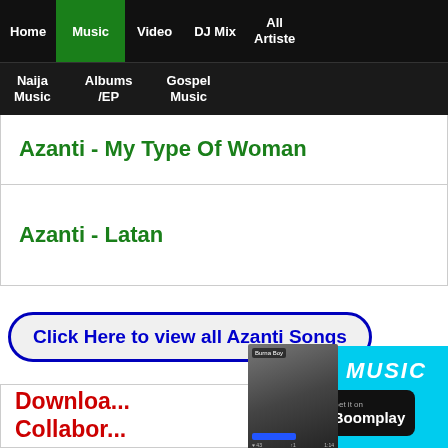Home | Music | Video | DJ Mix | All Artiste | Naija Music | Albums/EP | Gospel Music
Azanti - My Type Of Woman
Azanti - Latan
Click Here to view all Azanti Songs
[Figure (screenshot): Boomplay music app ad banner with FREE MUSIC text and Get it on Boomplay button, with Burna Boy thumbnail]
Download Collabor...